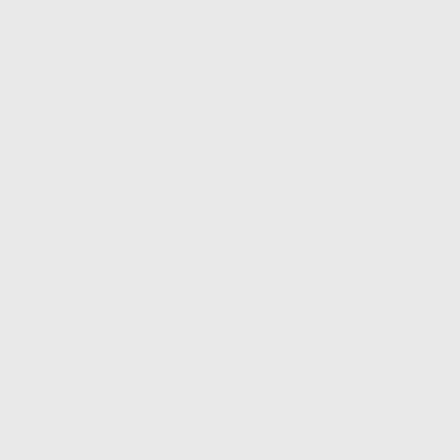| Number | State | Name | Code |
| --- | --- | --- | --- |
| 239-233-3 | FL | NEW CINGULAR WIRELESS PCS, LLC (AT&T Wireless) | 6214 |
| 239-233-4 | FL | NEW CINGULAR WIRELESS PCS, LLC (AT&T Wireless) | 6214 |
| 239-233-5 | FL | NEW CINGULAR WIRELESS PCS, LLC (AT&T Wireless) | 6214 |